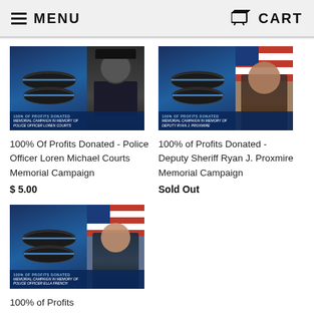MENU   CART
[Figure (photo): Memorial campaign product image for Police Officer Loren Michael Courts with bracelet and officer portrait]
100% Of Profits Donated - Police Officer Loren Michael Courts Memorial Campaign
$ 5.00
[Figure (photo): Memorial campaign product image for Deputy Sheriff Ryan J. Proxmire with bracelet and officer portrait with American flag]
100% of Profits Donated - Deputy Sheriff Ryan J. Proxmire Memorial Campaign
Sold Out
[Figure (photo): Memorial campaign product image for Police Officer Ella French with bracelet and officer portrait with American flag]
100% of Profits